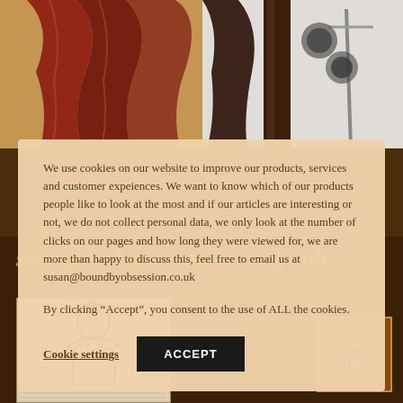[Figure (photo): Two photos at top: left shows red/burgundy fabric drape, right shows dark brown column/pole with studio equipment]
We use cookies on our website to improve our products, services and customer expeiences. We want to know which of our products people like to look at the most and if our articles are interesting or not, we do not collect personal data, we only look at the number of clicks on our pages and how long they were viewed for, we are more than happy to discuss this, feel free to email us at susan@boundbyobsession.co.uk
By clicking “Accept”, you consent to the use of ALL the cookies.
Cookie settings
ACCEPT
sizing and measurement guide
[Figure (illustration): Small sketch/illustration of a human figure outline on aged paper background]
TOP